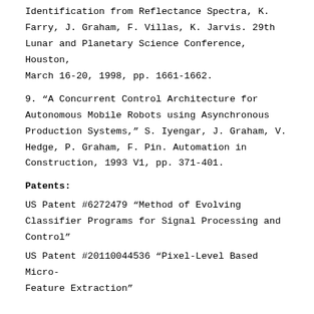Identification from Reflectance Spectra, K. Farry, J. Graham, F. Villas, K. Jarvis. 29th Lunar and Planetary Science Conference, Houston, March 16-20, 1998, pp. 1661-1662.
9. “A Concurrent Control Architecture for Autonomous Mobile Robots using Asynchronous Production Systems,” S. Iyengar, J. Graham, V. Hedge, P. Graham, F. Pin. Automation in Construction, 1993 V1, pp. 371-401.
Patents:
US Patent #6272479 “Method of Evolving Classifier Programs for Signal Processing and Control”
US Patent #20110044536 “Pixel-Level Based Micro-Feature Extraction”